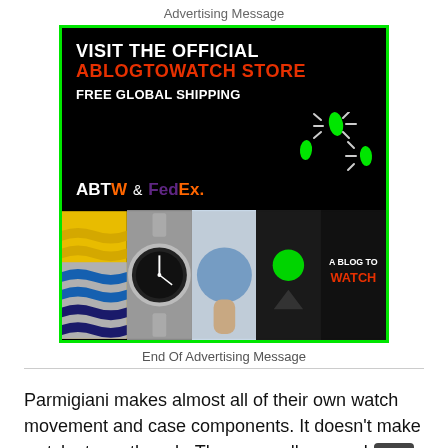Advertising Message
[Figure (illustration): Advertisement for the official ABLOGTOWATCH store with free global shipping, featuring ABTW and FedEx logos, and a banner with product images including a watch, clothing items, and logo panel. Green border around the ad.]
End Of Advertising Message
Parmigiani makes almost all of their own watch movement and case components. It doesn’t make watch straps though. These are all sourced from Hermes Paris. Customers of th